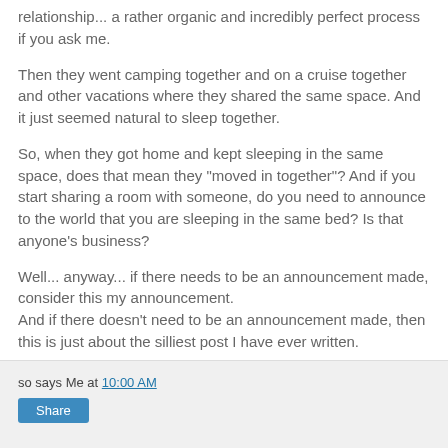relationship... a rather organic and incredibly perfect process if you ask me.
Then they went camping together and on a cruise together and other vacations where they shared the same space. And it just seemed natural to sleep together.
So, when they got home and kept sleeping in the same space, does that mean they "moved in together"? And if you start sharing a room with someone, do you need to announce to the world that you are sleeping in the same bed? Is that anyone's business?
Well... anyway... if there needs to be an announcement made, consider this my announcement.
And if there doesn't need to be an announcement made, then this is just about the silliest post I have ever written.
so says Me at 10:00 AM